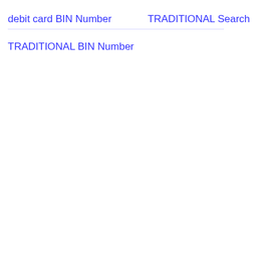debit card BIN Number
TRADITIONAL Search
TRADITIONAL BIN Number